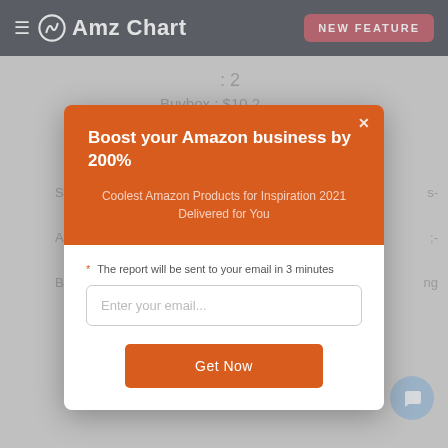AmzChart — NEW FEATURE
: 2
Buybox : $10.2
[Figure (screenshot): AmzChart web application screenshot with a modal popup overlay. The modal has an orange header section with bold white title 'Boost your Amazon business by 200%' and subtitle 'Coolest Amazon Products for Inspiration 2021 Delivered for You'. The white body section has a note '* The report will be sent to your email in 3 minutes', an email input field placeholder 'Enter your email...', and an orange 'Get Now' button.]
Boost your Amazon business by 200%
Coolest Amazon Products for Inspiration 2021 Delivered for You
* The report will be sent to your email in 3 minutes
Enter your email...
Get Now